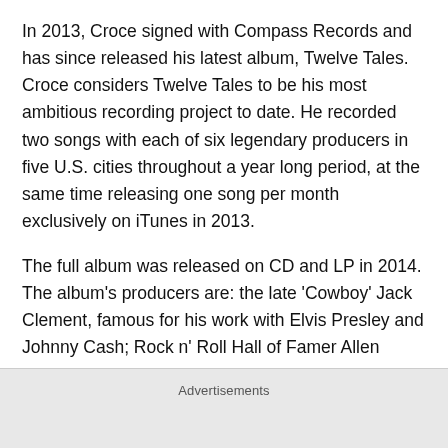In 2013, Croce signed with Compass Records and has since released his latest album, Twelve Tales. Croce considers Twelve Tales to be his most ambitious recording project to date. He recorded two songs with each of six legendary producers in five U.S. cities throughout a year long period, at the same time releasing one song per month exclusively on iTunes in 2013.
The full album was released on CD and LP in 2014. The album's producers are: the late 'Cowboy' Jack Clement, famous for his work with Elvis Presley and Johnny Cash; Rock n' Roll Hall of Famer Allen Toussaint, notable producer of classic New Orleans recordings by artists
Advertisements